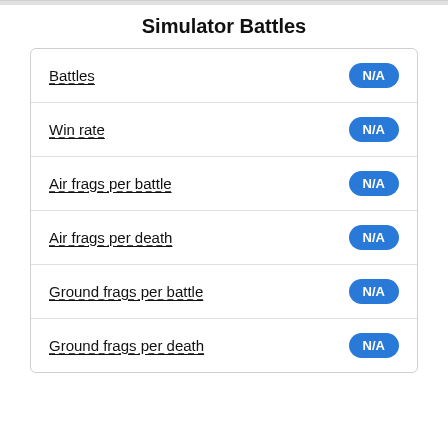Simulator Battles
| Stat | Value |
| --- | --- |
| Battles | N/A |
| Win rate | N/A |
| Air frags per battle | N/A |
| Air frags per death | N/A |
| Ground frags per battle | N/A |
| Ground frags per death | N/A |